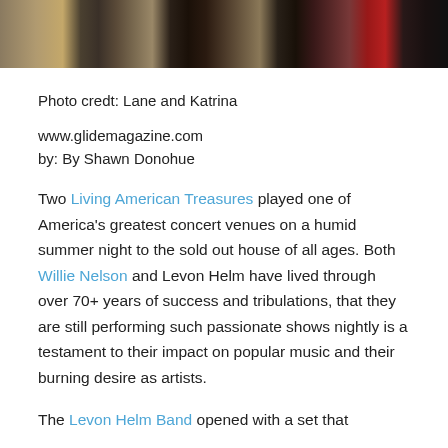[Figure (photo): Top portion of a concert photo showing musicians on stage with instruments and equipment, dark background]
Photo credt: Lane and Katrina
www.glidemagazine.com
by: By Shawn Donohue
Two Living American Treasures played one of America's greatest concert venues on a humid summer night to the sold out house of all ages. Both Willie Nelson and Levon Helm have lived through over 70+ years of success and tribulations, that they are still performing such passionate shows nightly is a testament to their impact on popular music and their burning desire as artists.
The Levon Helm Band opened with a set that